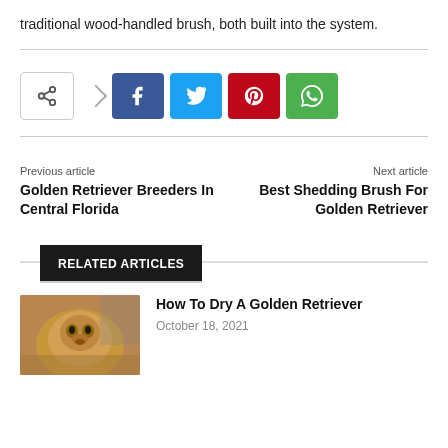traditional wood-handled brush, both built into the system.
[Figure (infographic): Social share buttons: share icon box, Facebook (blue), Twitter (cyan), Pinterest (red), WhatsApp (green)]
Previous article
Golden Retriever Breeders In Central Florida
Next article
Best Shedding Brush For Golden Retriever
RELATED ARTICLES
[Figure (photo): Photo of a golden retriever dog face close-up]
How To Dry A Golden Retriever
October 18, 2021